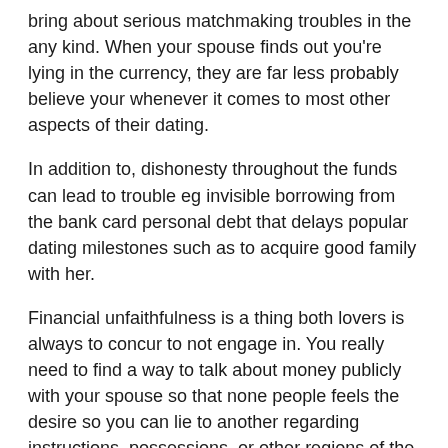bring about serious matchmaking troubles in the any kind. When your spouse finds out you're lying in the currency, they are far less probably believe your whenever it comes to most other aspects of their dating.
In addition to, dishonesty throughout the funds can lead to trouble eg invisible borrowing from the bank card personal debt that delays popular dating milestones such as to acquire good family with her.
Financial unfaithfulness is a thing both lovers is always to concur to not engage in. You really need to find a way to talk about money publicly with your spouse so that none people feels the desire so you can lie to another regarding instructions, possessions, or other regions of the common economic lives.
2. Are too handling otherwise judgmental